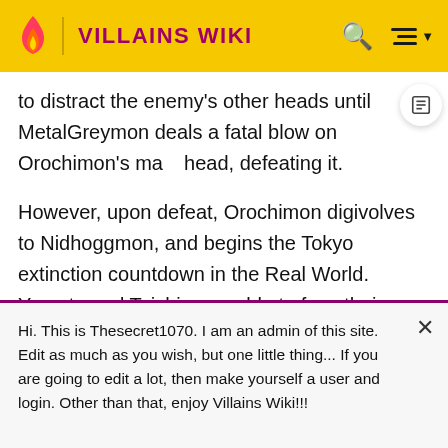VILLAINS WIKI
to distract the enemy's other heads until MetalGreymon deals a fatal blow on Orochimon's main head, defeating it.
However, upon defeat, Orochimon digivolves to Nidhoggmon, and begins the Tokyo extinction countdown in the Real World. Yamato and Taichi were able to fuse their courage and friendship, and Greymon and Garurumon fused to Omnimon once again. Nidhoggmon tries to fight back, but Omnimon destroys it once and for all, as well as putting an end to
Hi. This is Thesecret1070. I am an admin of this site. Edit as much as you wish, but one little thing... If you are going to edit a lot, then make yourself a user and login. Other than that, enjoy Villains Wiki!!!